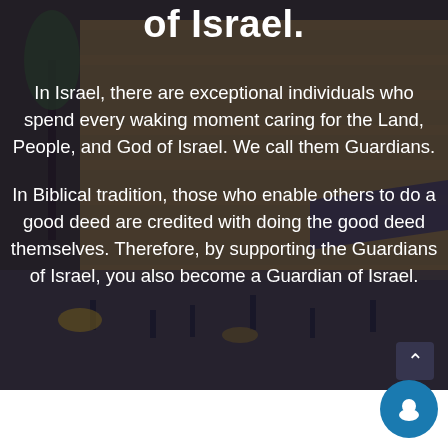of Israel.
In Israel, there are exceptional individuals who spend every waking moment caring for the Land, People, and God of Israel. We call them Guardians.
In Biblical tradition, those who enable others to do a good deed are credited with doing the good deed themselves. Therefore, by supporting the Guardians of Israel, you also become a Guardian of Israel.
[Figure (photo): Background photo of the Western Wall plaza in Jerusalem with people walking, overlaid with a dark blue-grey semi-transparent overlay. A chat button (teal circle with chat icon) is visible in the bottom right corner.]